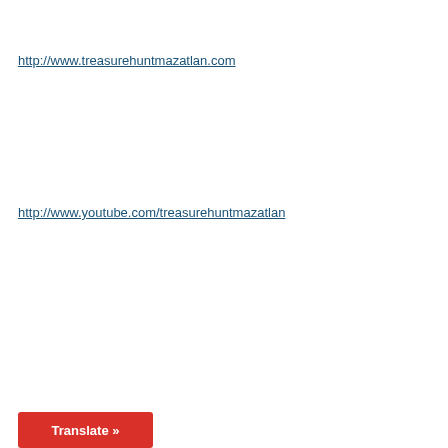http://www.treasurehuntmazatlan.com
http://www.youtube.com/treasurehuntmazatlan
Translate »